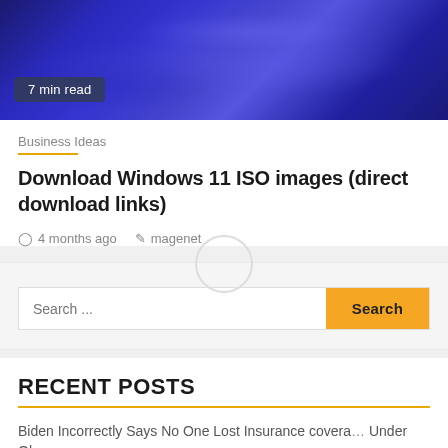[Figure (photo): Hero image with abstract blue swirling design, showing Windows 11 wallpaper-style background with '7 min read' badge overlay]
Business Ideas
Download Windows 11 ISO images (direct download links)
4 months ago   magenet
[Figure (other): Search bar with text input placeholder 'Search ...' and yellow 'Search' button]
RECENT POSTS
Biden Incorrectly Says No One Lost Insurance coverage Under Obamacare
What Is SEARCH ENGINE MARKETING And How It Works?